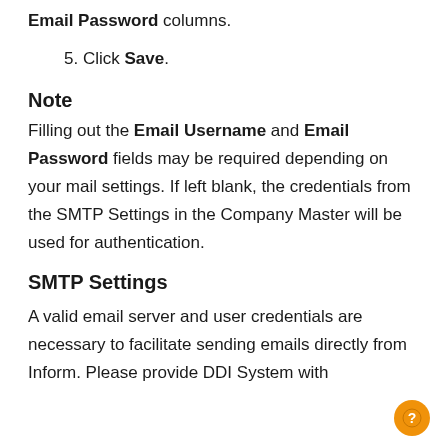Email Password columns.
5. Click Save.
Note
Filling out the Email Username and Email Password fields may be required depending on your mail settings. If left blank, the credentials from the SMTP Settings in the Company Master will be used for authentication.
SMTP Settings
A valid email server and user credentials are necessary to facilitate sending emails directly from Inform. Please provide DDI System with